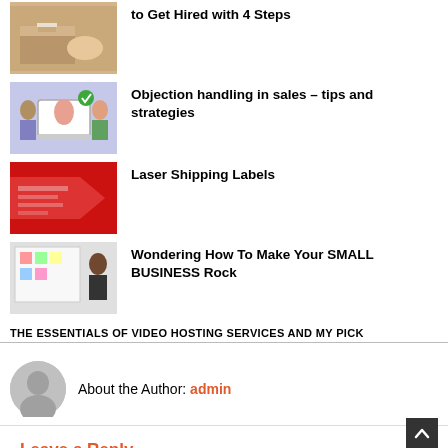to Get Hired with 4 Steps
Objection handling in sales – tips and strategies
Laser Shipping Labels
Wondering How To Make Your SMALL BUSINESS Rock
THE ESSENTIALS OF VIDEO HOSTING SERVICES AND MY PICK
About the Author: admin
Leave a Reply